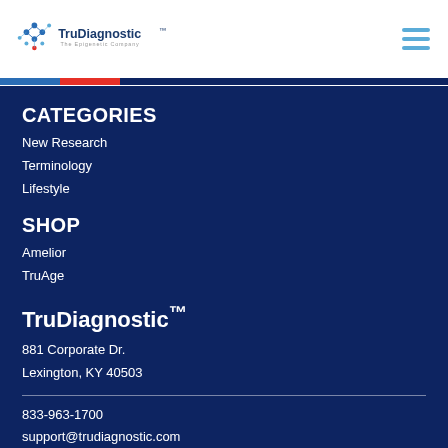[Figure (logo): TruDiagnostic logo with blue dot-cluster graphic and text 'TruDiagnostic - The Epigenetic Company']
CATEGORIES
New Research
Terminology
Lifestyle
SHOP
Amelior
TruAge
TruDiagnostic™
881 Corporate Dr.
Lexington, KY 40503
833-963-1700
support@trudiagnostic.com